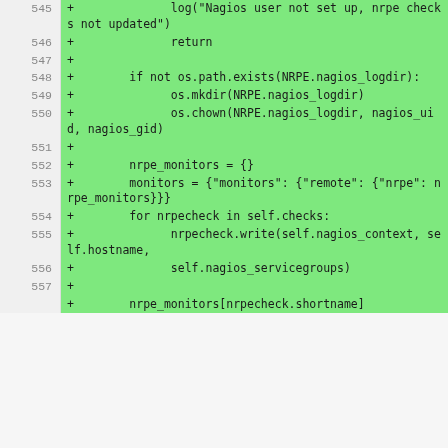[Figure (screenshot): Code diff view showing added lines (green background) numbered 545-557, containing Python code for NRPE/Nagios integration including path checks, mkdir, chown, monitors dict, and nrpecheck loop.]